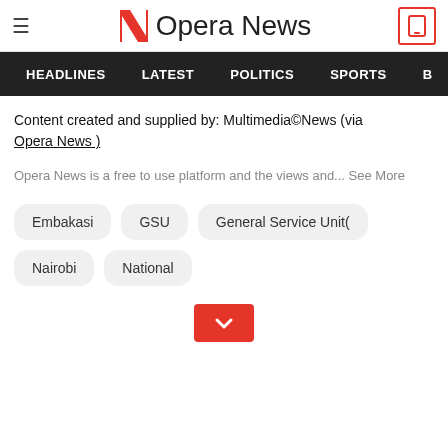Opera News
HEADLINES  LATEST  POLITICS  SPORTS
Content created and supplied by: Multimedia©News (via Opera News )
Opera News is a free to use platform and the views and... See More
Embakasi
GSU
General Service Unit(
Nairobi
National